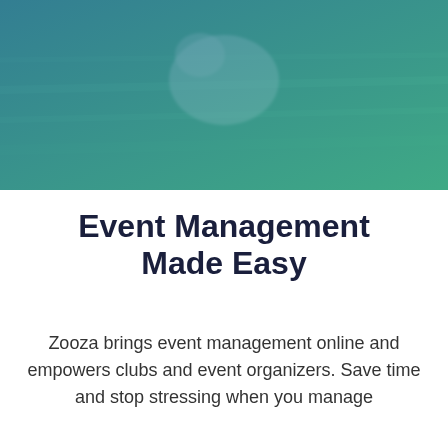[Figure (photo): Hero image with a teal/blue-green gradient overlay showing a dog on grass]
Event Management Made Easy
Zooza brings event management online and empowers clubs and event organizers. Save time and stop stressing when you manage